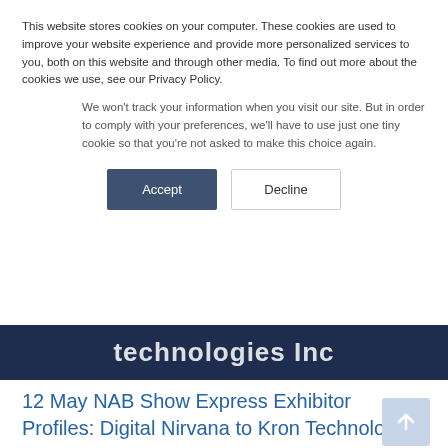This website stores cookies on your computer. These cookies are used to improve your website experience and provide more personalized services to you, both on this website and through other media. To find out more about the cookies we use, see our Privacy Policy.
We won't track your information when you visit our site. But in order to comply with your preferences, we'll have to use just one tiny cookie so that you're not asked to make this choice again.
Accept | Decline
technologies Inc
12 May NAB Show Express Exhibitor Profiles: Digital Nirvana to Kron Technologies Inc
Posted at 16:51h in by fiberguide • 0